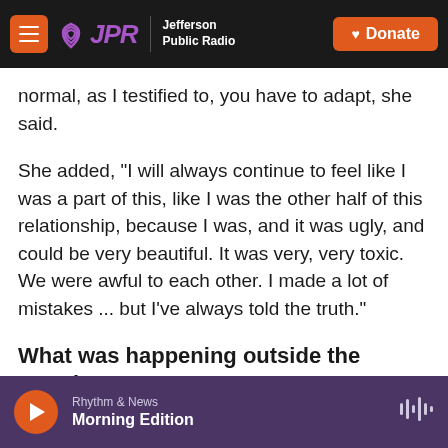JPR Jefferson Public Radio | Donate
normal, as I testified to, you have to adapt,  she said.
She added, "I will always continue to feel like I was a part of this, like I was the other half of this relationship, because I was, and it was ugly, and could be very beautiful. It was very, very toxic. We were awful to each other. I made a lot of mistakes ... but I've always told the truth."
What was happening outside the courthouse
Before the jury returned its verdict, the court of
Rhythm & News  Morning Edition